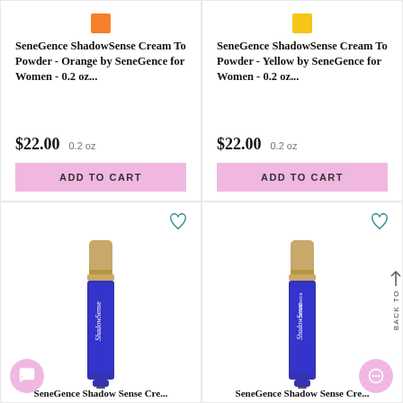[Figure (photo): Orange colored cream eyeshadow compact thumbnail]
SeneGence ShadowSense Cream To Powder - Orange by SeneGence for Women - 0.2 oz...
$22.00   0.2 oz
ADD TO CART
[Figure (photo): Yellow colored cream eyeshadow compact thumbnail]
SeneGence ShadowSense Cream To Powder - Yellow by SeneGence for Women - 0.2 oz...
$22.00   0.2 oz
ADD TO CART
[Figure (photo): ShadowSense blue cream eyeshadow tube with gold cap, standing upright]
SeneGence ShadowSense Cre...
[Figure (photo): ShadowSense blue cream eyeshadow tube with gold cap, second product]
SeneGence ShadowSense Cre...